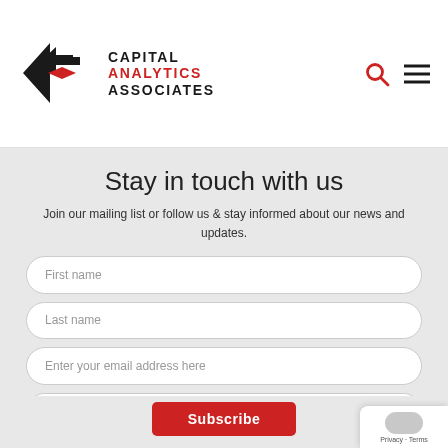[Figure (logo): Capital Analytics Associates logo with diamond/arrow shape in black and red, company name in black and red text]
Stay in touch with us
Join our mailing list or follow us & stay informed about our news and updates.
First name
Last name
Enter your email address here
Choose Market
Subscribe